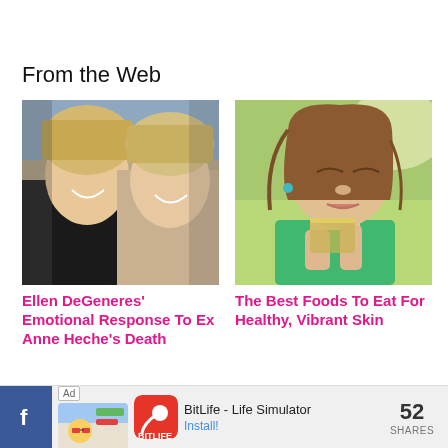From the Web
[Figure (photo): Two blonde women smiling together at an event — Ellen DeGeneres and Anne Heche]
Ellen DeGeneres' Emotional Response To Ex Anne Heche's Death
[Figure (photo): Young brunette woman with eyes closed, holding and smelling a glass of herbal tea or juice, wearing a green top]
The Best Foods To Eat For Healthy, Vibrant Skin
Ad  BitLife - Life Simulator  Install!
52 SHARES